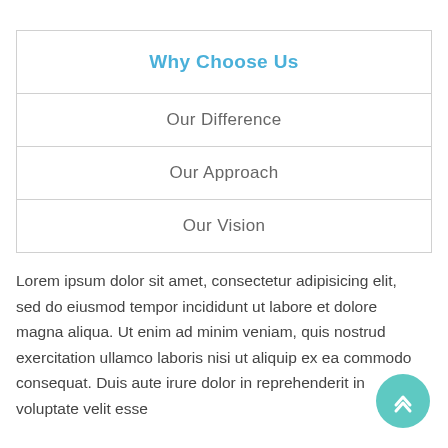| Why Choose Us |
| Our Difference |
| Our Approach |
| Our Vision |
Lorem ipsum dolor sit amet, consectetur adipisicing elit, sed do eiusmod tempor incididunt ut labore et dolore magna aliqua. Ut enim ad minim veniam, quis nostrud exercitation ullamco laboris nisi ut aliquip ex ea commodo consequat. Duis aute irure dolor in reprehenderit in voluptate velit esse